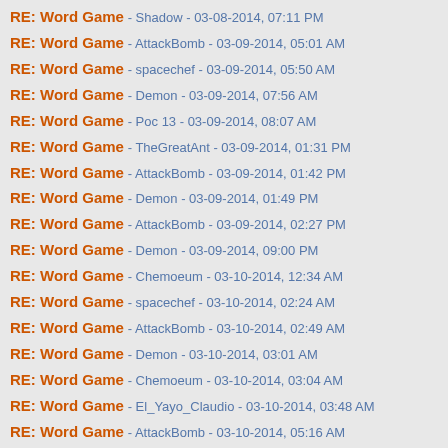RE: Word Game - Shadow - 03-08-2014, 07:11 PM
RE: Word Game - AttackBomb - 03-09-2014, 05:01 AM
RE: Word Game - spacechef - 03-09-2014, 05:50 AM
RE: Word Game - Demon - 03-09-2014, 07:56 AM
RE: Word Game - Poc 13 - 03-09-2014, 08:07 AM
RE: Word Game - TheGreatAnt - 03-09-2014, 01:31 PM
RE: Word Game - AttackBomb - 03-09-2014, 01:42 PM
RE: Word Game - Demon - 03-09-2014, 01:49 PM
RE: Word Game - AttackBomb - 03-09-2014, 02:27 PM
RE: Word Game - Demon - 03-09-2014, 09:00 PM
RE: Word Game - Chemoeum - 03-10-2014, 12:34 AM
RE: Word Game - spacechef - 03-10-2014, 02:24 AM
RE: Word Game - AttackBomb - 03-10-2014, 02:49 AM
RE: Word Game - Demon - 03-10-2014, 03:01 AM
RE: Word Game - Chemoeum - 03-10-2014, 03:04 AM
RE: Word Game - El_Yayo_Claudio - 03-10-2014, 03:48 AM
RE: Word Game - AttackBomb - 03-10-2014, 05:16 AM
RE: Word Game - spacechef - 03-10-2014, 05:31 AM
RE: Word Game - AttackBomb - 03-10-2014, 05:41 AM
RE: Word Game - Poc 13 - 03-10-2014, 08:06 AM
RE: Word Game - Demon - 03-10-2014, 08:18 AM